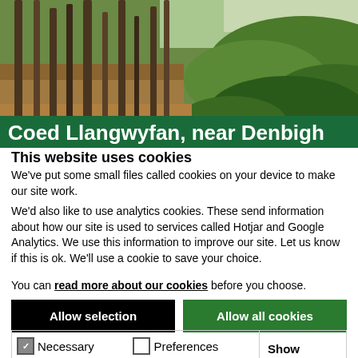[Figure (photo): Aerial/ground-level photograph of Coed Llangwyfan forest near Denbigh, showing tall pine tree trunks on the left and rolling green hillsides on the right, with a green banner overlay at the bottom reading 'Coed Llangwyfan, near Denbigh']
This website uses cookies
We've put some small files called cookies on your device to make our site work.
We'd also like to use analytics cookies. These send information about how our site is used to services called Hotjar and Google Analytics. We use this information to improve our site. Let us know if this is ok. We'll use a cookie to save your choice.
You can read more about our cookies before you choose.
Allow selection
Allow all cookies
Necessary  Preferences  Statistics  Marketing  Show details